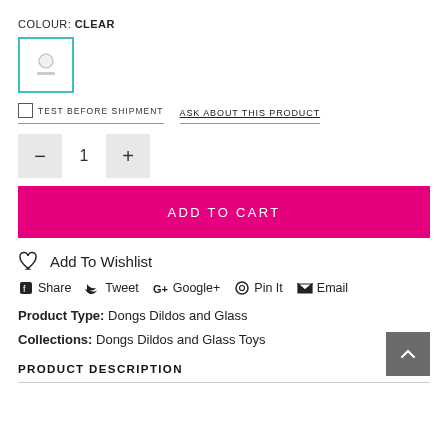COLOUR: CLEAR
[Figure (other): Colour swatch thumbnail for CLEAR variant with teal border]
TEST BEFORE SHIPMENT   ASK ABOUT THIS PRODUCT
- 1 +
ADD TO CART
Add To Wishlist
Share  Tweet  Google+  Pin It  Email
Product Type: Dongs Dildos and Glass
Collections: Dongs Dildos and Glass Toys
PRODUCT DESCRIPTION